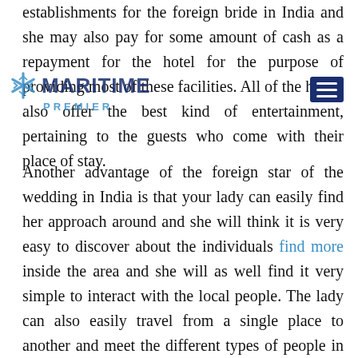establishments for the foreign bride in India and she may also pay for some amount of cash as a repayment for the hotel for the purpose of providing most of these facilities. All of the hotels also offer the best kind of entertainment, pertaining to the guests who come with their place of stay.
[Figure (logo): Maritime Premier logo with blue snowflake/star icon, bold dark blue MARITIME text and blue PREMIER text below]
Another advantage of the foreign star of the wedding in India is that your lady can easily find her approach around and she will think it is very easy to discover about the individuals find more inside the area and she will as well find it very simple to interact with the local people. The lady can also easily travel from a single place to another and meet the different types of people in the city where she desires to spend her honeymoon. These foreign brides to be are very much aware of their particular customs and traditions and